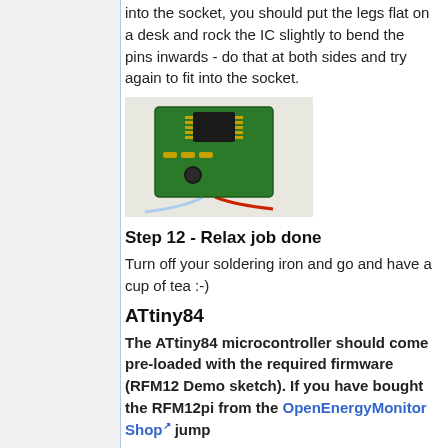into the socket, you should put the legs flat on a desk and rock the IC slightly to bend the pins inwards - do that at both sides and try again to fit into the socket.
[Figure (photo): A small green PCB (circuit board) with a DIP IC chip in a socket, resistors, capacitor, and red/blue wires attached.]
Step 12 - Relax job done
Turn off your soldering iron and go and have a cup of tea :-)
ATtiny84
The ATtiny84 microcontroller should come pre-loaded with the required firmware (RFM12 Demo sketch). If you have bought the RFM12pi from the OpenEnergyMonitor Shop jump